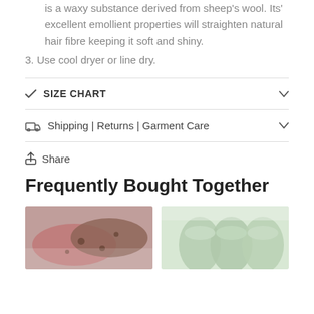is a waxy substance derived from sheep's wool. Its' excellent emollient properties will straighten natural hair fibre keeping it soft and shiny.
3. Use cool dryer or line dry.
SIZE CHART
Shipping | Returns | Garment Care
Share
Frequently Bought Together
[Figure (photo): Two product photos side by side: left shows pink and brown speckled wool socks, right shows mint green low-cut socks.]